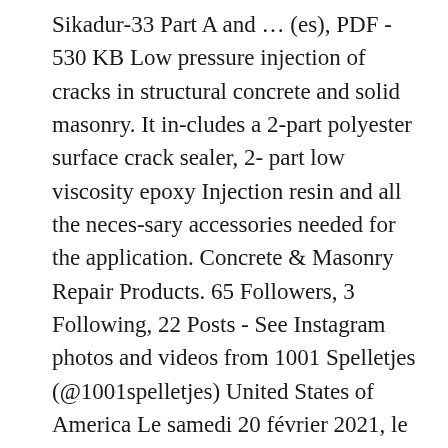Sikadur-33 Part A and … (es), PDF - 530 KB Low pressure injection of cracks in structural concrete and solid masonry. It in-cludes a 2-part polyester surface crack sealer, 2- part low viscosity epoxy Injection resin and all the neces-sary accessories needed for the application. Concrete & Masonry Repair Products. 65 Followers, 3 Following, 22 Posts - See Instagram photos and videos from 1001 Spelletjes (@1001spelletjes) United States of America Le samedi 20 février 2021, le nombre total de cas est de 3 517 199, le nombre de guérisons est de 221 273, le nombre de décès est de 82 971 Le taux de mortalité est de 2,36%, le taux de guérison est de 6,29% et le taux de personnes encore malade est de 91,35% Vous